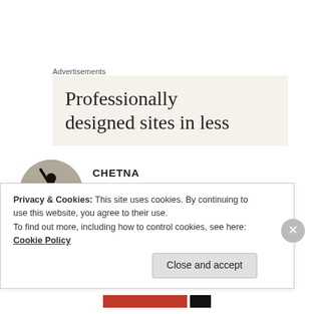Advertisements
[Figure (illustration): Advertisement banner with beige background showing text 'Professionally designed sites in less']
[Figure (photo): Circular avatar photo of a person silhouetted against a sky, reaching upward]
CHETNA
Jul 8, 2020 at 5:41 pm
Happiness is but a broken promise.....lying dead!
Privacy & Cookies: This site uses cookies. By continuing to use this website, you agree to their use.
To find out more, including how to control cookies, see here: Cookie Policy
Close and accept